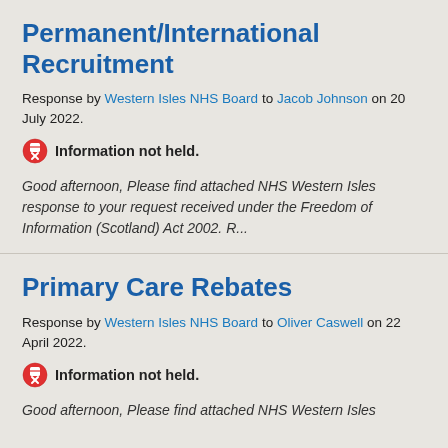Permanent/International Recruitment
Response by Western Isles NHS Board to Jacob Johnson on 20 July 2022.
Information not held.
Good afternoon, Please find attached NHS Western Isles response to your request received under the Freedom of Information (Scotland) Act 2002.   R...
Primary Care Rebates
Response by Western Isles NHS Board to Oliver Caswell on 22 April 2022.
Information not held.
Good afternoon, Please find attached NHS Western Isles